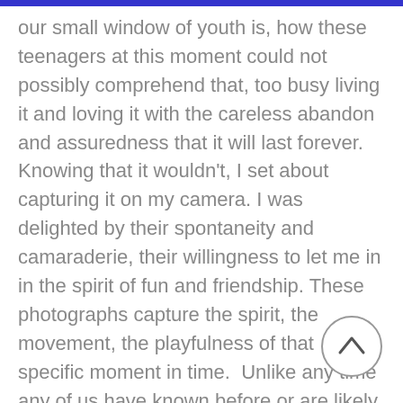our small window of youth is, how these teenagers at this moment could not possibly comprehend that, too busy living it and loving it with the careless abandon and assuredness that it will last forever.
Knowing that it wouldn't, I set about capturing it on my camera. I was delighted by their spontaneity and camaraderie, their willingness to let me in in the spirit of fun and friendship. These photographs capture the spirit, the movement, the playfulness of that specific moment in time.  Unlike any time any of us have known before or are likely to know again. This is what happened when our local teenagers
[Figure (other): A circular scroll-to-top button with an upward-pointing chevron (caret) arrow inside it, positioned at the bottom right of the page.]